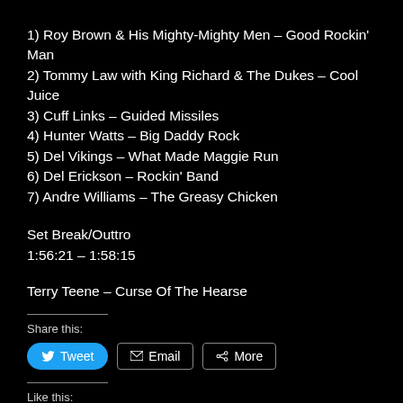1) Roy Brown & His Mighty-Mighty Men – Good Rockin' Man
2) Tommy Law with King Richard & The Dukes – Cool Juice
3) Cuff Links – Guided Missiles
4) Hunter Watts – Big Daddy Rock
5) Del Vikings – What Made Maggie Run
6) Del Erickson – Rockin' Band
7) Andre Williams – The Greasy Chicken
Set Break/Outtro
1:56:21 – 1:58:15
Terry Teene – Curse Of The Hearse
Share this:
Like this: